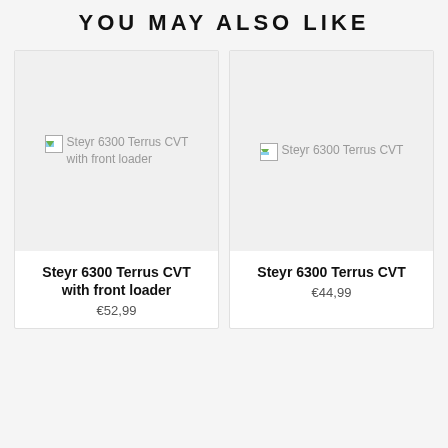YOU MAY ALSO LIKE
[Figure (photo): Product image placeholder for Steyr 6300 Terrus CVT with front loader (broken image icon shown)]
Steyr 6300 Terrus CVT with front loader
€52,99
[Figure (photo): Product image placeholder for Steyr 6300 Terrus CVT (broken image icon shown)]
Steyr 6300 Terrus CVT
€44,99